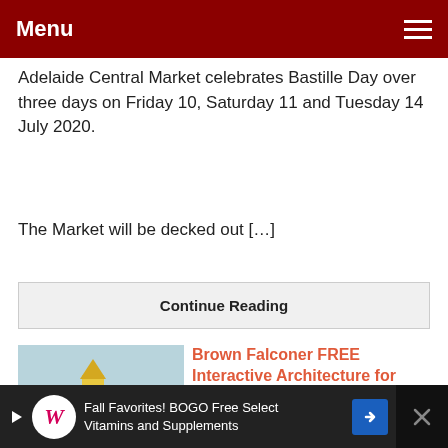Menu
Adelaide Central Market celebrates Bastille Day over three days on Friday 10, Saturday 11 and Tuesday 14 July 2020.
The Market will be decked out […]
Continue Reading
[Figure (photo): Cardboard paper house models in various colors on a table]
Brown Falconer FREE Interactive Architecture for Kids Online Workshop | 7-16 Jul 2020
July 2, 2020
[ July 7, 2020; July 9, 2020; July 14, 2020; July 16, 2020; ]
Fall Favorites! BOGO Free Select Vitamins and Supplements